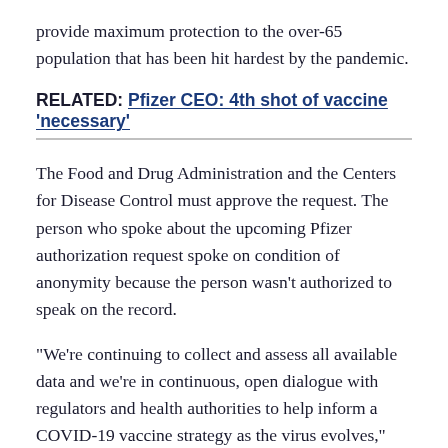provide maximum protection to the over-65 population that has been hit hardest by the pandemic.
RELATED: Pfizer CEO: 4th shot of vaccine 'necessary'
The Food and Drug Administration and the Centers for Disease Control must approve the request. The person who spoke about the upcoming Pfizer authorization request spoke on condition of anonymity because the person wasn't authorized to speak on the record.
"We're continuing to collect and assess all available data and we're in continuous, open dialogue with regulators and health authorities to help inform a COVID-19 vaccine strategy as the virus evolves," said Pfizer spokeswoman Jerica Pitts.
RELATED: Pfizer: Omicron-specific COVID-19 vaccine